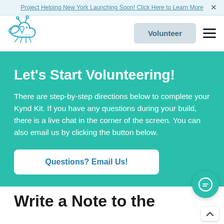Project Helping New York Launching Soon! Click Here to Learn More  ×
[Figure (logo): Bee/heart cloud logo in teal/blue outline style]
Volunteer
Let's Start Volunteering!
There are step-by-step directions below to complete your Kynd Kit. If you have any questions during your build, there is a live chat in the corner of the screen. You can also email us by clicking the button below.
Questions? Email Us!
Write a Note to the